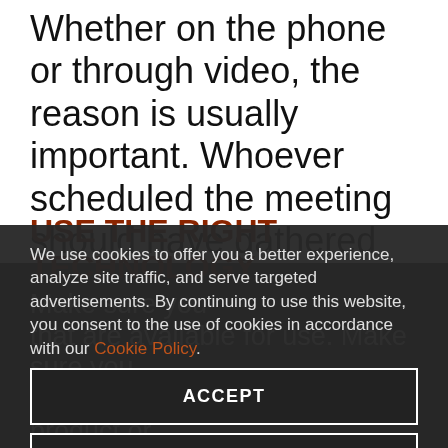Whether on the phone or through video, the reason is usually important. Whoever scheduled the meeting should have gathered all the materials needed including background information, opinions, and documents, and distributed any necessary information to the rest of the team to help the meeting run as productively and as smoothly as possible.
We use cookies to offer you a better experience, analyze site traffic, and serve targeted advertisements. By continuing to use this website, you consent to the use of cookies in accordance with our Cookie Policy.
ACCEPT
MANAGE CHOICES
USE THE RIGHT TECHNOLOGY
Make sure you and your teammates are using a product or that are available for use. Make sure you and your teammates are using a product or